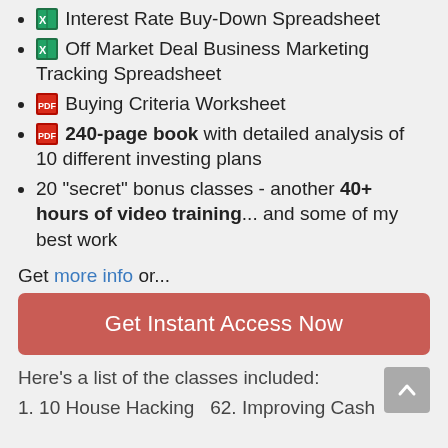Interest Rate Buy-Down Spreadsheet
Off Market Deal Business Marketing Tracking Spreadsheet
Buying Criteria Worksheet
240-page book with detailed analysis of 10 different investing plans
20 "secret" bonus classes - another 40+ hours of video training... and some of my best work
Get more info or...
Get Instant Access Now
Here's a list of the classes included:
1. 10 House Hacking  62. Improving Cash